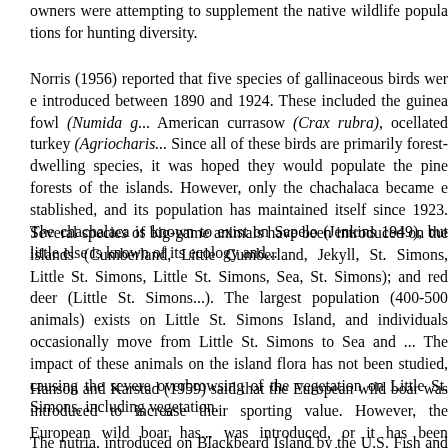owners were attempting to supplement the native wildlife populations for hunting diversity.
Norris (1956) reported that five species of gallinaceous birds were introduced between 1890 and 1924. These included the guinea fowl (Numida g...), American currasow (Crax rubra), ocellated turkey (Agriocharis...). Since all of these birds are primarily forest-dwelling species, it was hoped they would populate the pine forests of the islands. However, only the chachalaca became established, and its population has maintained itself since 1923. The chachalaca is known to exist on Sapelo (Jenkins 1949), but little else is known of its ecology and...
Several species of big-game animals have been introduced on the islands (Cumberland, Little Cumberland, Jekyll, St. Simons, Little St. Simons, Little St. Simons, Sea, St. Simons); and red deer (Little St. Simons...). The largest population (400-500 animals) exists on Little St. Simons Island, and individuals occasionally move from Little St. Simons to Sea and ... The impact of these animals on the island flora has not been studied, causing the severe overbrowsing of the vegetation on Little St. Simons, including vegetation.
Hanson and Karstad (1959) said that the European wild boar was introduced to increase their sporting value. However, the European wild boar has either not been where it was introduced, or it has been genetically integrated into the large feral hog population of the islands. The ecological impact of feral hog populations will be...
The nutria, introduced on Blackbeard Island by the U.S. Fish and ...